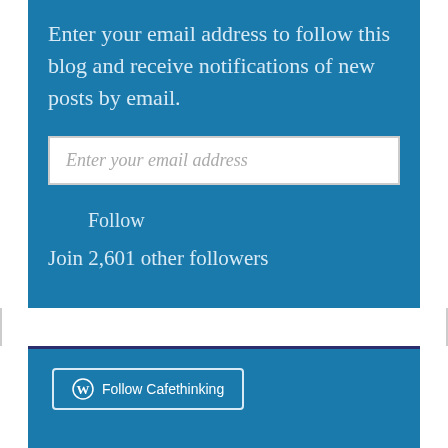Enter your email address to follow this blog and receive notifications of new posts by email.
Enter your email address
Follow
Join 2,601 other followers
[Figure (screenshot): WordPress Follow Cafethinking button with WordPress logo]